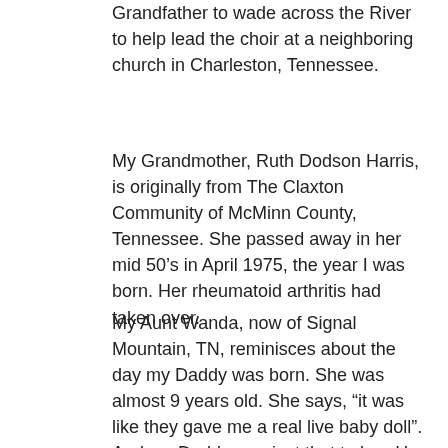Grandfather to wade across the River to help lead the choir at a neighboring church in Charleston, Tennessee.
My Grandmother, Ruth Dodson Harris, is originally from The Claxton Community of McMinn County, Tennessee. She passed away in her mid 50’s in April 1975, the year I was born. Her rheumatoid arthritis had taken over.
My Aunt Wanda, now of Signal Mountain, TN, reminisces about the day my Daddy was born. She was almost 9 years old. She says, “it was like they gave me a real live baby doll”. And my Daddy was just that to her. He was her first baby. She went on to have six children of her own.